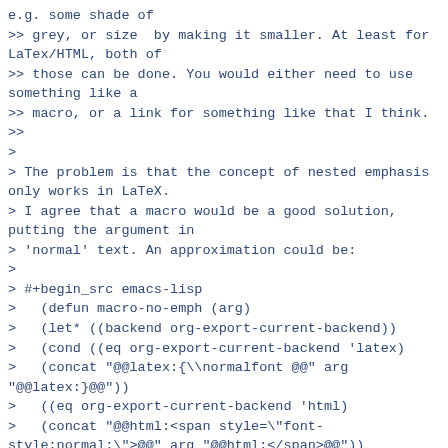e.g. some shade of
>> grey, or size  by making it smaller. At least for LaTex/HTML, both of
>> those can be done. You would either need to use something like a
>> macro, or a link for something like that I think.
>>
>
> The problem is that the concept of nested emphasis only works in LaTeX.
> I agree that a macro would be a good solution, putting the argument in
> 'normal' text. An approximation could be:
>
> #+begin_src emacs-lisp
>   (defun macro-no-emph (arg)
>   (let* ((backend org-export-current-backend))
>   (cond ((eq org-export-current-backend 'latex)
>   (concat "@@latex:{\\normalfont @@" arg "@@latex:}@@"))
>   ((eq org-export-current-backend 'html)
>   (concat "@@html:<span style=\"font-style:normal;\">@@" arg "@@html:</span>@@"))
>   ((eq org-export-current-backend 'odt)
>   ;; a character style `normal' must be definded for odt
>   (concat "@@odt:<text:span text:style-name=\"normal\">@@" arg "@@odt:</text:span>@@")))))
>
> (setq org-export-global-macros